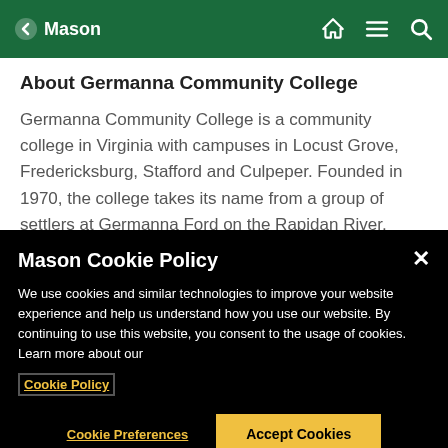Mason
About Germanna Community College
Germanna Community College is a community college in Virginia with campuses in Locust Grove, Fredericksburg, Stafford and Culpeper. Founded in 1970, the college takes its name from a group of settlers at Germanna Ford on the Rapidan River,
Mason Cookie Policy
We use cookies and similar technologies to improve your website experience and help us understand how you use our website. By continuing to use this website, you consent to the usage of cookies. Learn more about our Cookie Policy
Cookie Preferences
Accept Cookies